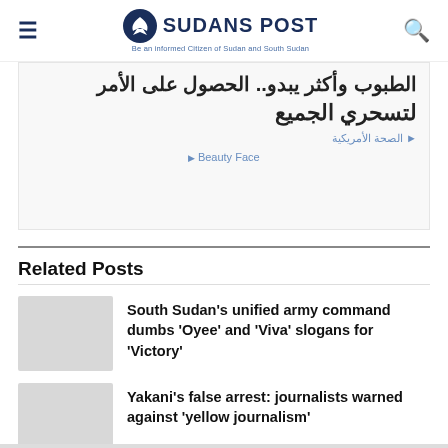SUDANS POST — Be an informed Citizen of Sudan and South Sudan
[Figure (other): Advertisement with Arabic text reading large characters and small Arabic label 'الصحة الأمريكية' with 'Beauty Face' link below]
Related Posts
South Sudan's unified army command dumbs 'Oyee' and 'Viva' slogans for 'Victory'
Yakani's false arrest: journalists warned against 'yellow journalism'